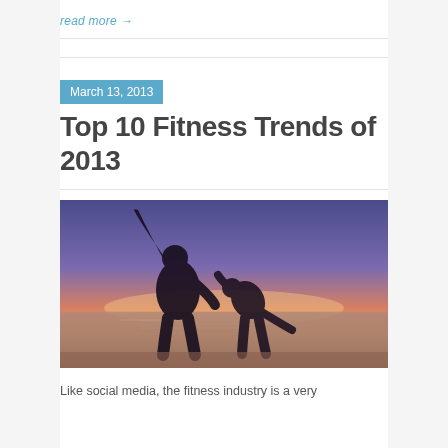read more →
[Figure (photo): Silhouette of two people doing stretching/yoga exercises on a beach at sunset, with orange and purple sky and water in the background.]
March 13, 2013
Top 10 Fitness Trends of 2013
Like social media, the fitness industry is a very